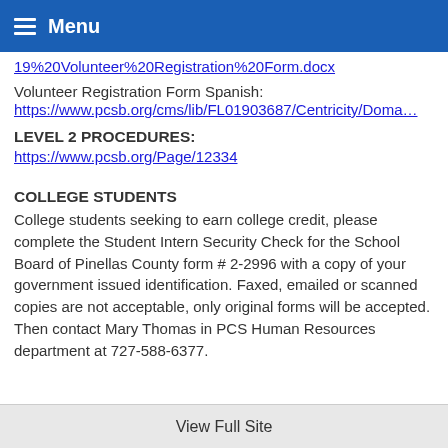Menu
19%20Volunteer%20Registration%20Form.docx
Volunteer Registration Form Spanish:
https://www.pcsb.org/cms/lib/FL01903687/Centricity/Doma…
LEVEL 2 PROCEDURES:
https://www.pcsb.org/Page/12334
COLLEGE STUDENTS
College students seeking to earn college credit, please complete the Student Intern Security Check for the School Board of Pinellas County form # 2-2996 with a copy of your government issued identification. Faxed, emailed or scanned copies are not acceptable, only original forms will be accepted. Then contact Mary Thomas in PCS Human Resources department at 727-588-6377.
View Full Site